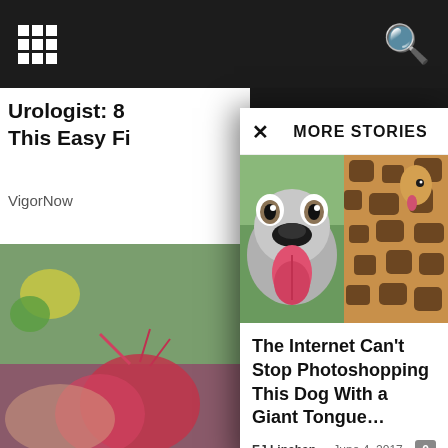[Figure (screenshot): Website screenshot showing a dark navigation bar at the top with a grid/apps icon on the left and a search icon on the right. Below is a partially visible article card on the left side showing 'Urologist: 8... This Easy Fi...' with source 'VigorNow' and a reddish fruit photo. Overlaying the right portion is a 'MORE STORIES' modal panel with an X close button, a composite thumbnail image showing a dog with a giant tongue on the left half and baby giraffes on the right half, followed by the article title 'The Internet Can't Stop Photoshopping This Dog With a Giant Tongue...' with author 'EJ Linehan' dated June 4, 2017, and a comment count badge showing 0.]